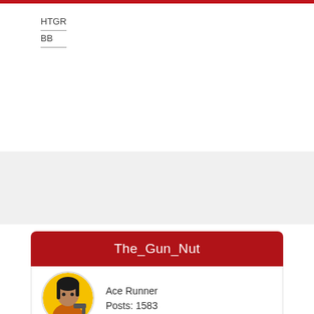HTGR
BB
The_Gun_Nut
Ace Runner
Posts: 1583
Re: Ship Laser + Banshee
« Reply #3 on: <09-06-10/0349:13> »
It doesn't work that way, Kontact.  Electrical generation from a turbine draws an immense amount of power off